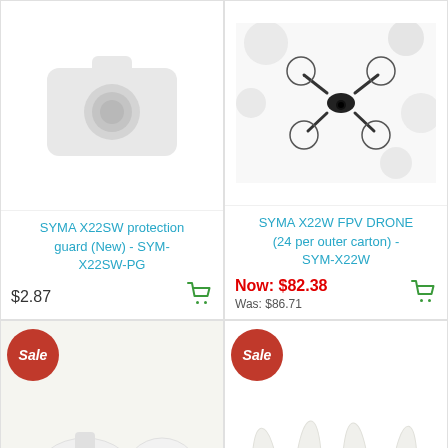[Figure (photo): Placeholder camera icon image for SYMA X22SW protection guard product]
SYMA X22SW protection guard (New) - SYM-X22SW-PG
$2.87
[Figure (photo): Photo of SYMA X22W FPV drone in flight against white bokeh background]
SYMA X22W FPV DRONE (24 per outer carton) - SYM-X22W
Now: $82.38
Was: $86.71
[Figure (photo): Photo of SYMA drone body/shell components on white background, with Sale badge]
[Figure (photo): Photo of four white drone propellers on white background, with Sale badge]